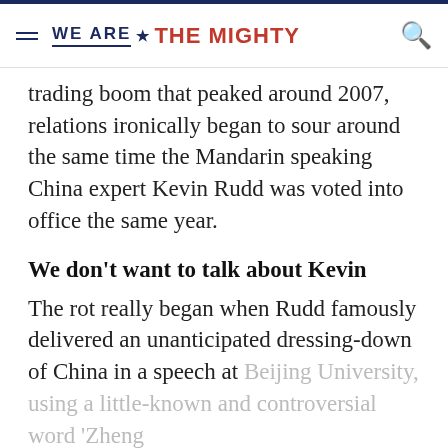WE ARE ★ THE MIGHTY
trading boom that peaked around 2007, relations ironically began to sour around the same time the Mandarin speaking China expert Kevin Rudd was voted into office the same year.
We don't want to talk about Kevin
The rot really began when Rudd famously delivered an unanticipated dressing-down of China in a speech at Beijing University, using a little-known and controversial word 'Zheng